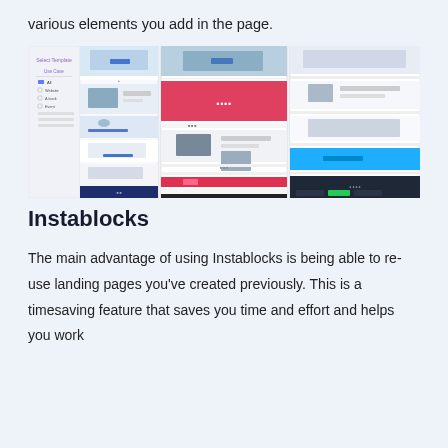various elements you add in the page.
[Figure (screenshot): Three side-by-side screenshots of a landing page template builder interface showing various website templates with images, colored sections (red, blue, dark navy), and a sidebar template selector panel with categories like Use Case, All, Website, A book, Event.]
Instablocks
The main advantage of using Instablocks is being able to re-use landing pages you've created previously. This is a timesaving feature that saves you time and effort and helps you work